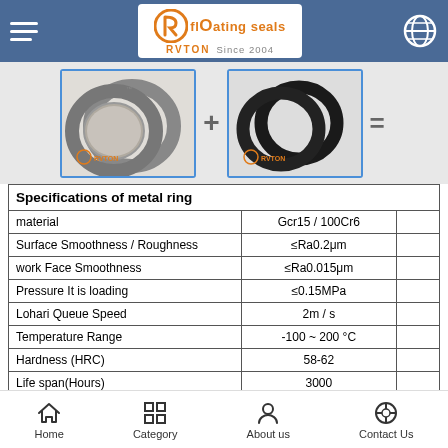RVTON FLOATING SEALS Since 2004
[Figure (photo): Two metal floating seal rings (grey/silver) and two rubber O-rings (black), shown separately with plus and equals signs, indicating the components of a floating seal assembly. Both images branded with RVTON logo.]
Specifications of metal ring
|  |  |  |
| --- | --- | --- |
| material | Gcr15 / 100Cr6 |  |
| Surface Smoothness / Roughness | ≤Ra0.2μm |  |
| work Face Smoothness | ≤Ra0.015μm |  |
| Pressure It is loading | ≤0.15MPa |  |
| Lohari Queue Speed | 2m / s |  |
| Temperature Range | -100 ~ 200 °C |  |
| Hardness (HRC) | 58-62 |  |
| Life span(Hours) | 3000 |  |
Specifications of rubber ring
Home  Category  About us  Contact Us